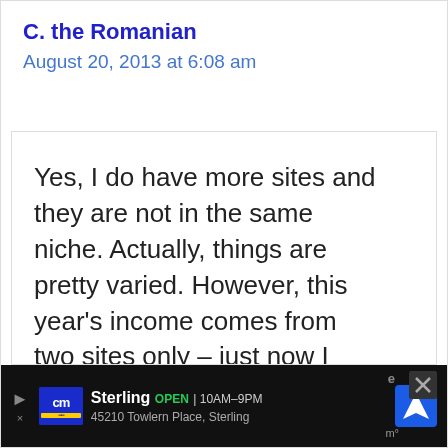C. the Romanian
August 20, 2013 at 6:08 am
Yes, I do have more sites and they are not in the same niche. Actually, things are pretty varied. However, this year's income comes from two sites only – just now I have started to expand a little bit after selling the big money maker and I hope that my
Sterling OPEN 10AM–9PM 45210 Towlern Place, Sterling